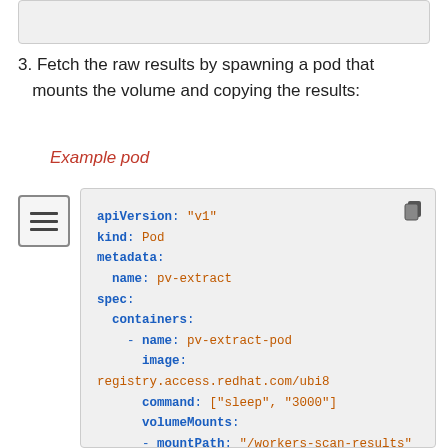3. Fetch the raw results by spawning a pod that mounts the volume and copying the results:
Example pod
apiVersion: "v1"
kind: Pod
metadata:
  name: pv-extract
spec:
  containers:
    - name: pv-extract-pod
      image: registry.access.redhat.com/ubi8
      command: ["sleep", "3000"]
      volumeMounts:
      - mountPath: "/workers-scan-results"
        name: workers-scan-vol
  volumes:
  - name: workers-scan-vol
    persistentVolumeClaim: